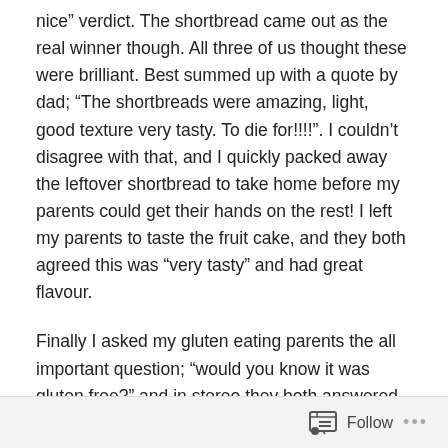nice” verdict.  The shortbread came out as the real winner though.  All three of us thought these were brilliant.  Best summed up with a quote by dad; “The shortbreads were amazing, light, good texture very tasty.  To die for!!!!”.  I couldn’t disagree with that, and I quickly packed away the leftover shortbread to take home before my parents could get their hands on the rest!  I left my parents to taste the fruit cake, and they both agreed this was “very tasty” and had great flavour.
Finally I asked my gluten eating parents the all important question; “would you know it was gluten free?” and in stereo they both answered a resounding “no”.  So there we have it, good enough for everyone to eat which I know is Annie’s mission.  I am sure if you get a chance to
Follow